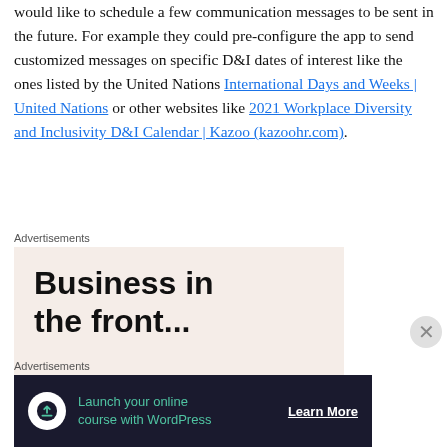would like to schedule a few communication messages to be sent in the future. For example they could pre-configure the app to send customized messages on specific D&I dates of interest like the ones listed by the United Nations International Days and Weeks | United Nations or other websites like 2021 Workplace Diversity and Inclusivity D&I Calendar | Kazoo (kazoohr.com).
Advertisements
[Figure (other): Advertisement banner with text 'Business in the front...' on a light peach background with a colorful gradient bar at the bottom]
Advertisements
[Figure (other): Dark advertisement banner: 'Launch your online course with WordPress' with a Learn More button and upload/cloud icon]